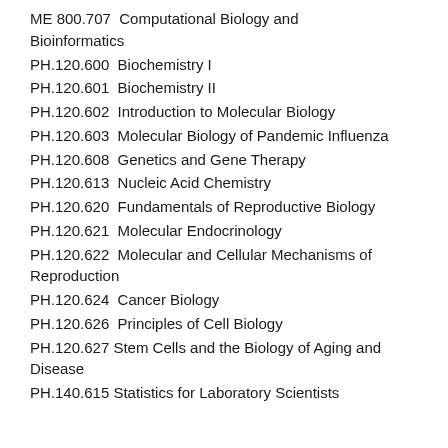ME 800.707  Computational Biology and Bioinformatics
PH.120.600  Biochemistry I
PH.120.601  Biochemistry II
PH.120.602  Introduction to Molecular Biology
PH.120.603  Molecular Biology of Pandemic Influenza
PH.120.608  Genetics and Gene Therapy
PH.120.613  Nucleic Acid Chemistry
PH.120.620  Fundamentals of Reproductive Biology
PH.120.621  Molecular Endocrinology
PH.120.622  Molecular and Cellular Mechanisms of Reproduction
PH.120.624  Cancer Biology
PH.120.626  Principles of Cell Biology
PH.120.627 Stem Cells and the Biology of Aging and Disease
PH.140.615  Statistics for Laboratory Scientists